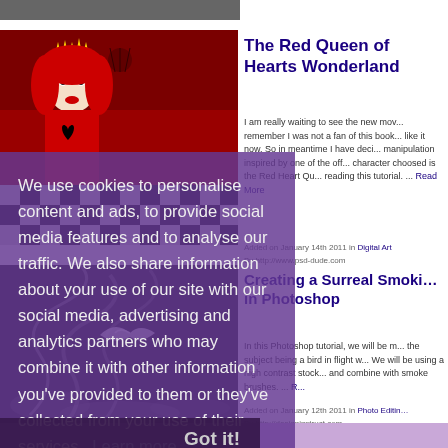[Figure (screenshot): Top partial image strip - dark gray bar at very top of page]
[Figure (photo): Red Queen of Hearts character from Alice in Wonderland movie - woman in red costume with crown against red background with chess floor]
The Red Queen of Hearts Wonderland
I am really waiting to see the new mov... remember I was not a fan of this book... like it now. So in meantime I have deci... manipulation inspired by one of the off... character choosed is the Red Heart Qu... reading this tutorial. ... Read More
Added on January 14th 2011 in Digital Art
By http://www.psd-dude.com
[Figure (photo): Dark smoky surreal image - bird in flight with smoke effects]
Creating a Surreal Smoki... in Photoshop
In this Photoshop tutorial, we will be m... the subject being a bird in flight w... We will be using a high contrast stock... and combine with smoke brushes. ... R...
Added on January 12th 2011 in Photo Editin...
By http://designinstruct.com
We use cookies to personalise content and ads, to provide social media features and to analyse our traffic. We also share information about your use of our site with our social media, advertising and analytics partners who may combine it with other information you've provided to them or they've collected from your use of their services. Learn more
Got it!